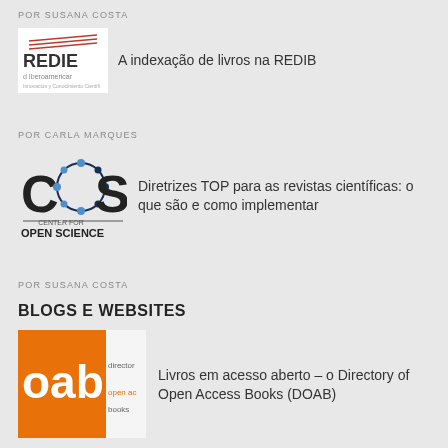POR SUSANA COSTA
[Figure (logo): REDIB logo - Red Iberoamericana de Innovación y Conocimiento Científico]
A indexação de livros na REDIB
POR CARLA MARQUES
[Figure (logo): Center for Open Science (COS) logo with dotted O symbol]
Diretrizes TOP para as revistas científicas: o que são e como implementar
POR SUSANA COSTA
BLOGS E WEBSITES
[Figure (logo): DOAB - Directory of Open Access Books logo with orange background]
Livros em acesso aberto – o Directory of Open Access Books (DOAB)